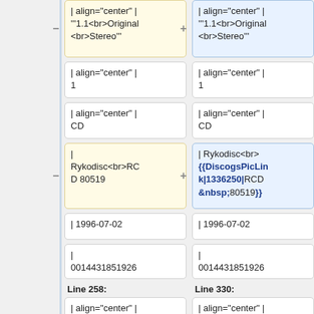| align="center" | '''1.1<br>Original<br>Stereo'''
| align="center" | '''1.1<br>Original<br>Stereo'''
| align="center" | 1
| align="center" | 1
| align="center" | CD
| align="center" | CD
| Rykodisc<br>RCD 80519
| Rykodisc<br>{{DiscogsPicLink|1336250|RCD&nbsp;80519}}
| 1996-07-02
| 1996-07-02
| 0014431851926
| 0014431851926
Line 258:
Line 330:
| align="center" | 1
| align="center" | 1